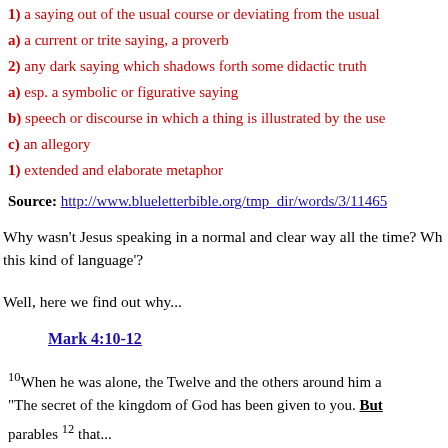1) a saying out of the usual course or deviating from the usual
a) a current or trite saying, a proverb
2) any dark saying which shadows forth some didactic truth
a) esp. a symbolic or figurative saying
b) speech or discourse in which a thing is illustrated by the use
c) an allegory
1) extended and elaborate metaphor
Source: http://www.blueletterbible.org/tmp_dir/words/3/11465
Why wasn't Jesus speaking in a normal and clear way all the time? Wh this kind of language'?
Well, here we find out why...
Mark 4:10-12
10When he was alone, the Twelve and the others around him as "The secret of the kingdom of God has been given to you. But parables 12 that...